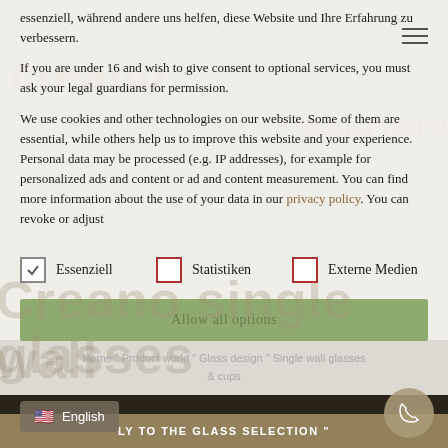essenziell, während andere uns helfen, diese Website und Ihre Erfahrung zu verbessern.
If you are under 16 and wish to give consent to optional services, you must ask your legal guardians for permission.
We use cookies and other technologies on our website. Some of them are essential, while others help us to improve this website and your experience. Personal data may be processed (e.g. IP addresses), for example for personalized ads and content or ad and content measurement. You can find more information about the use of your data in our privacy policy. You can revoke or adjust
Essenziell
Statistiken
Externe Medien
Allow all options
Home " Product world " Glass design " Single wall glasses & cups
English
LY TO THE GLASS SELECTION "